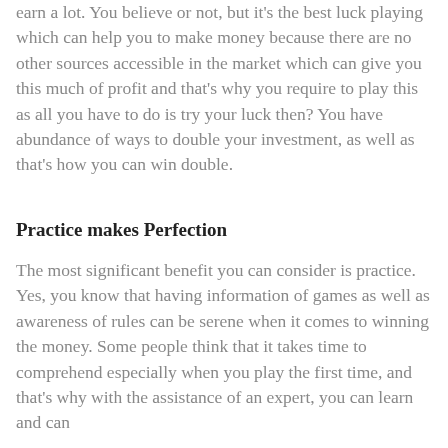earn a lot. You believe or not, but it's the best luck playing which can help you to make money because there are no other sources accessible in the market which can give you this much of profit and that's why you require to play this as all you have to do is try your luck then? You have abundance of ways to double your investment, as well as that's how you can win double.
Practice makes Perfection
The most significant benefit you can consider is practice. Yes, you know that having information of games as well as awareness of rules can be serene when it comes to winning the money. Some people think that it takes time to comprehend especially when you play the first time, and that's why with the assistance of an expert, you can learn and can